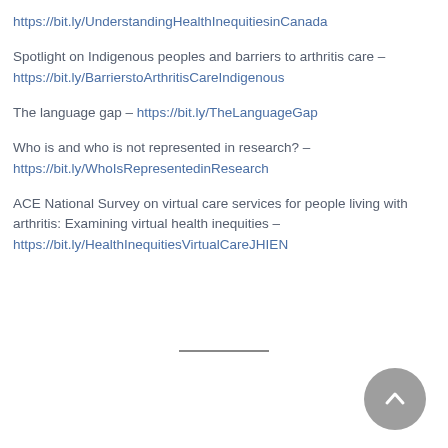https://bit.ly/UnderstandingHealthInequitiesinCanada
Spotlight on Indigenous peoples and barriers to arthritis care – https://bit.ly/BarrierstoArthritisCareIndigenous
The language gap – https://bit.ly/TheLanguageGap
Who is and who is not represented in research? – https://bit.ly/WhoIsRepresentedinResearch
ACE National Survey on virtual care services for people living with arthritis: Examining virtual health inequities – https://bit.ly/HealthInequitiesVirtualCareJHIEN